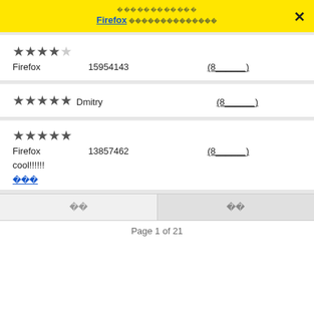Firefox
Firefox  15954143  (8______)  ★★★★☆
★★★★★ Dmitry  (8______)
★★★★★ Firefox  13857462  (8______)
cool!!!!!!!
더보기
이전   다음
Page 1 of 21